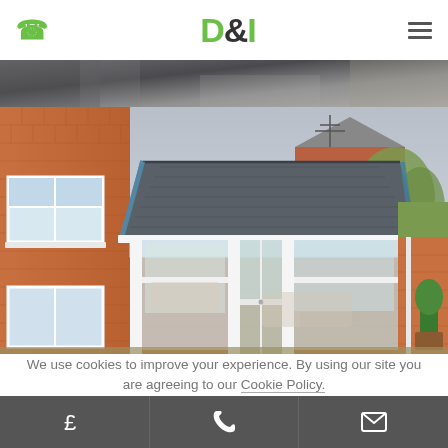D&I — phone icon, logo, hamburger menu
[Figure (photo): Partial top strip of an outdoor/garden blurred photo, likely header image area]
[Figure (photo): Conservatory with grey tiled roof, white uPVC frames and bi-fold doors, brick exterior walls, garden visible to the right]
We use cookies to improve your experience. By using our site you are agreeing to our Cookie Policy.
Bottom action bar with £ (finance/quote), phone, and email icons